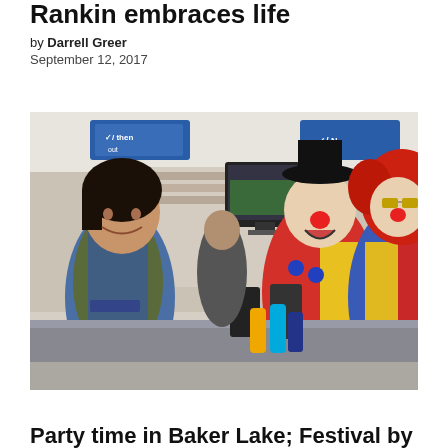Rankin embraces life
by Darrell Greer
September 12, 2017
[Figure (photo): A store cashier smiling at two clowns in colorful costumes standing at a checkout counter inside a grocery store.]
Party time in Baker Lake; Festival by